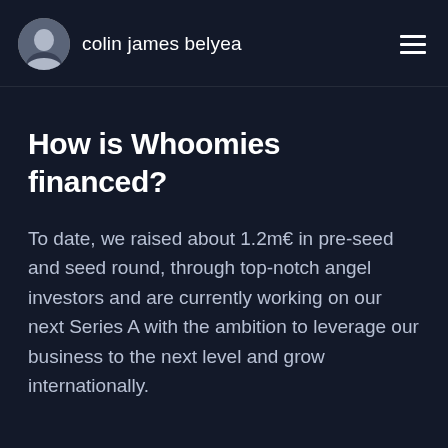colin james belyea
How is Whoomies financed?
To date, we raised about 1.2m€ in pre-seed and seed round, through top-notch angel investors and are currently working on our next Series A with the ambition to leverage our business to the next level and grow internationally.